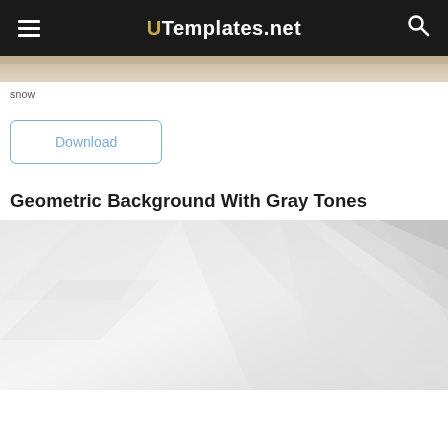UTemplates.net
[Figure (photo): Top strip of a photo, likely indoor scene with warm tones]
snow
Download
Geometric Background With Gray Tones
[Figure (illustration): Geometric background with diagonal gray tone shapes and gradients, light gray geometric polygon pattern]